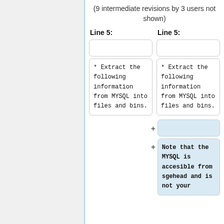(9 intermediate revisions by 3 users not shown)
Line 5: Line 5:
* Extract the following information from MYSQL into files and bins.
* Extract the following information from MYSQL into files and bins.
+ (added empty line)
+ Note that the MYSQL is accesible from sgehead and is not your